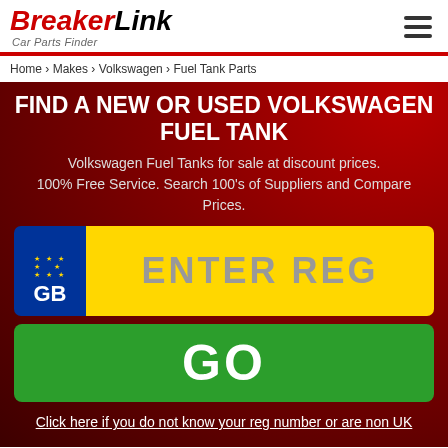BreakerLink Car Parts Finder
Home › Makes › Volkswagen › Fuel Tank Parts
FIND A NEW OR USED VOLKSWAGEN FUEL TANK
Volkswagen Fuel Tanks for sale at discount prices. 100% Free Service. Search 100's of Suppliers and Compare Prices.
[Figure (other): UK number plate input field with blue GB badge on left and yellow plate area showing ENTER REG placeholder text]
[Figure (other): Green GO button]
Click here if you do not know your reg number or are non UK